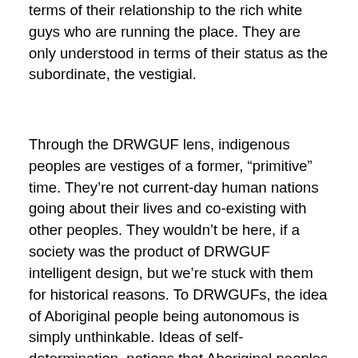terms of their relationship to the rich white guys who are running the place. They are only understood in terms of their status as the subordinate, the vestigial.
Through the DRWGUF lens, indigenous peoples are vestiges of a former, “primitive” time. They’re not current-day human nations going about their lives and co-existing with other peoples. They wouldn’t be here, if a society was the product of DRWGUF intelligent design, but we’re stuck with them for historical reasons. To DRWGUFs, the idea of Aboriginal people being autonomous is simply unthinkable. Ideas of self-determination, notions that Aboriginal peoples belong to sovereign nations, are as unthinkable as the idea that an tonsil should have a voice in its own fate. The idea of treaty with Aboriginal people is as bizarre to DRWGUFs as entering into negotiations with